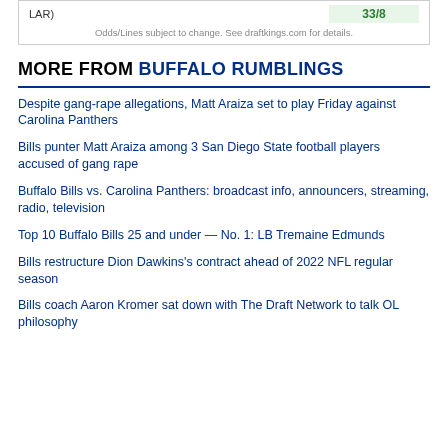| LAR) |  |
| --- | --- |
| Odds/Lines subject to change. See draftkings.com for details. |  |
MORE FROM BUFFALO RUMBLINGS
Despite gang-rape allegations, Matt Araiza set to play Friday against Carolina Panthers
Bills punter Matt Araiza among 3 San Diego State football players accused of gang rape
Buffalo Bills vs. Carolina Panthers: broadcast info, announcers, streaming, radio, television
Top 10 Buffalo Bills 25 and under — No. 1: LB Tremaine Edmunds
Bills restructure Dion Dawkins's contract ahead of 2022 NFL regular season
Bills coach Aaron Kromer sat down with The Draft Network to talk OL philosophy